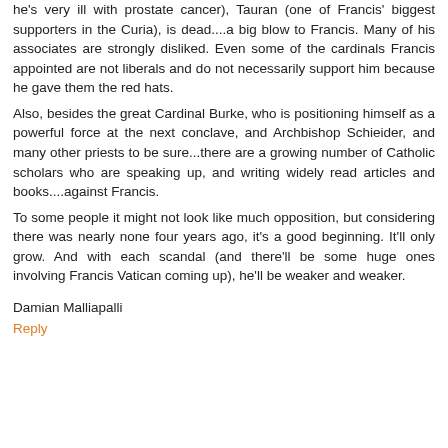he's very ill with prostate cancer), Tauran (one of Francis' biggest supporters in the Curia), is dead....a big blow to Francis. Many of his associates are strongly disliked. Even some of the cardinals Francis appointed are not liberals and do not necessarily support him because he gave them the red hats.
Also, besides the great Cardinal Burke, who is positioning himself as a powerful force at the next conclave, and Archbishop Schieider, and many other priests to be sure...there are a growing number of Catholic scholars who are speaking up, and writing widely read articles and books....against Francis.
To some people it might not look like much opposition, but considering there was nearly none four years ago, it's a good beginning. It'll only grow. And with each scandal (and there'll be some huge ones involving Francis Vatican coming up), he'll be weaker and weaker.
Damian Malliapalli
Reply